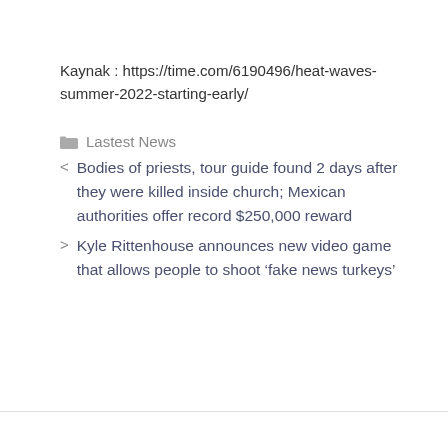Kaynak : https://time.com/6190496/heat-waves-summer-2022-starting-early/
Lastest News
Bodies of priests, tour guide found 2 days after they were killed inside church; Mexican authorities offer record $250,000 reward
Kyle Rittenhouse announces new video game that allows people to shoot ‘fake news turkeys’